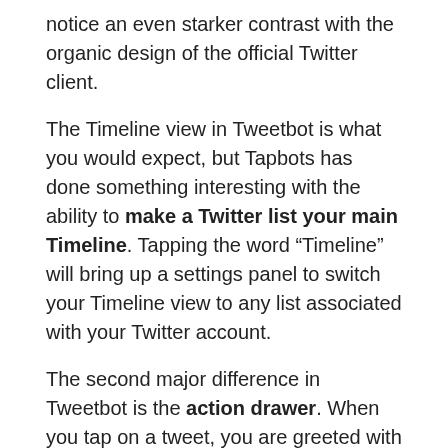notice an even starker contrast with the organic design of the official Twitter client.
The Timeline view in Tweetbot is what you would expect, but Tapbots has done something interesting with the ability to make a Twitter list your main Timeline. Tapping the word “Timeline” will bring up a settings panel to switch your Timeline view to any list associated with your Twitter account.
The second major difference in Tweetbot is the action drawer. When you tap on a tweet, you are greeted with a drop-down panel and a list of options, such as, Reply, Retweet, Favorite, Detail View, etc. The official Twitter client uses a left-to-right swipe for the same type of option